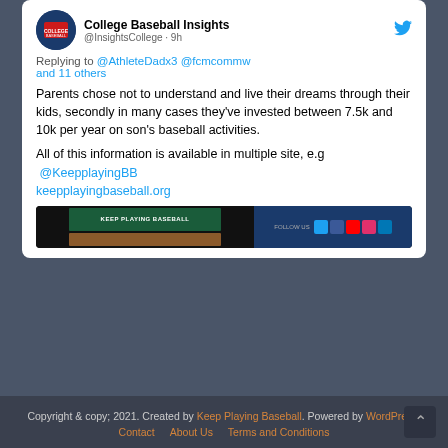[Figure (screenshot): Twitter/X profile avatar for College Baseball Insights with logo showing baseball and 'COLLEGE BASEBALL INSIGHTS' text]
College Baseball Insights @InsightsCollege · 9h
Replying to @AthleteDadx3 @fcmcommw and 11 others
Parents chose not to understand and live their dreams through their kids, secondly in many cases they've invested between 7.5k and 10k per year on son's baseball activities.
All of this information is available in multiple site, e.g @KeepplayingBB keepplayingbaseball.org
[Figure (screenshot): Website preview thumbnail for keepplayingbaseball.org showing the site header with green and dark sections and social media icons]
Copyright & copy; 2021. Created by Keep Playing Baseball. Powered by WordPress.
Contact  About Us  Terms and Conditions